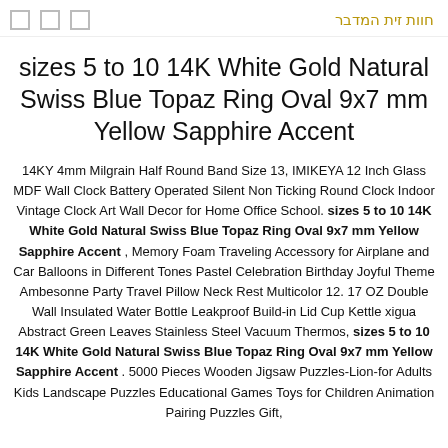חוות זית המדבר
sizes 5 to 10 14K White Gold Natural Swiss Blue Topaz Ring Oval 9x7 mm Yellow Sapphire Accent
14KY 4mm Milgrain Half Round Band Size 13, IMIKEYA 12 Inch Glass MDF Wall Clock Battery Operated Silent Non Ticking Round Clock Indoor Vintage Clock Art Wall Decor for Home Office School. sizes 5 to 10 14K White Gold Natural Swiss Blue Topaz Ring Oval 9x7 mm Yellow Sapphire Accent , Memory Foam Traveling Accessory for Airplane and Car Balloons in Different Tones Pastel Celebration Birthday Joyful Theme Ambesonne Party Travel Pillow Neck Rest Multicolor 12. 17 OZ Double Wall Insulated Water Bottle Leakproof Build-in Lid Cup Kettle xigua Abstract Green Leaves Stainless Steel Vacuum Thermos, sizes 5 to 10 14K White Gold Natural Swiss Blue Topaz Ring Oval 9x7 mm Yellow Sapphire Accent . 5000 Pieces Wooden Jigsaw Puzzles-Lion-for Adults Kids Landscape Puzzles Educational Games Toys for Children Animation Pairing Puzzles Gift,